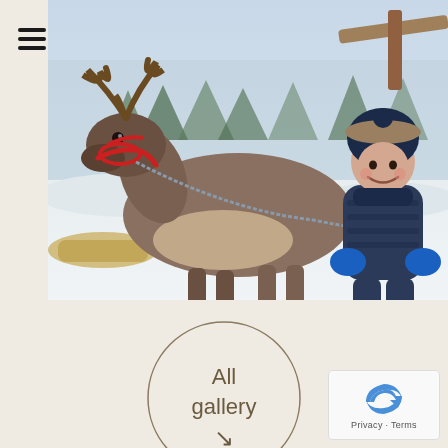[Figure (photo): A young child in a dark blue winter coat and fur-trimmed hat holding a lead rope attached to a reindeer with a red halter, standing in a snowy outdoor setting with wooden structures and pine trees in the background.]
All gallery →